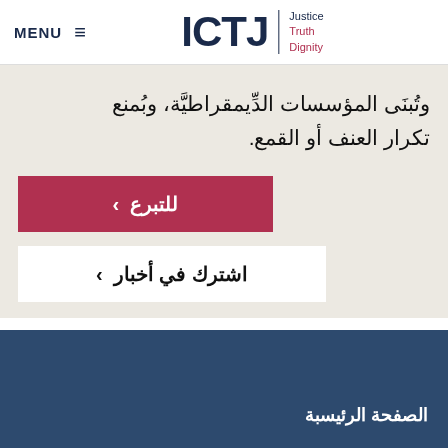MENU | ICTJ | Justice Truth Dignity
وتُبنَى المؤسسات الدِّيمقراطيَّة، وبُمنع تكرار العنف أو القمع.
للتبرع ›
اشترك في أخبار ›
الصفحة الرئيسبة